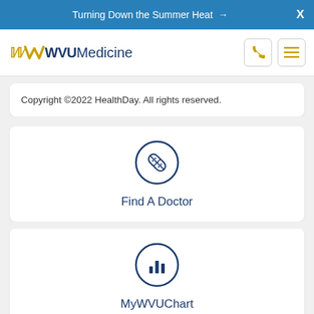Turning Down the Summer Heat →   X
[Figure (logo): WVU Medicine logo with flying WV in gold and WVU Medicine text in navy, plus phone and hamburger menu icons]
Copyright ©2022 HealthDay. All rights reserved.
[Figure (illustration): Find A Doctor card with circular bandage/medical cross icon in navy outline circle]
Find A Doctor
[Figure (illustration): MyWVUChart card with bar chart icon in navy outline circle]
MyWVUChart
[Figure (illustration): Partially visible third card with card/credit card icon in navy outline circle; scroll-up button in gray circle]